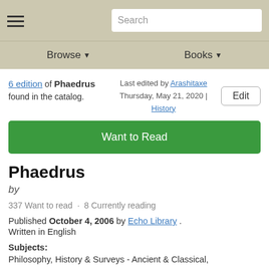Browse · Books
6 edition of Phaedrus found in the catalog. Last edited by Arashitaxe Thursday, May 21, 2020 | History
Want to Read
Phaedrus
by
337 Want to read · 8 Currently reading
Published October 4, 2006 by Echo Library . Written in English
Subjects: Philosophy, History & Surveys - Ancient & Classical, Philosophy / Ancient